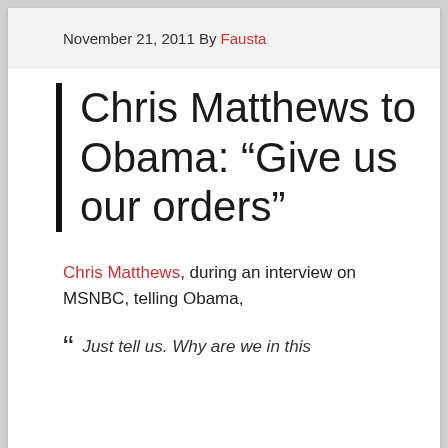November 21, 2011 By Fausta
Chris Matthews to Obama: “Give us our orders”
Chris Matthews, during an interview on MSNBC, telling Obama,
“ Just tell us. Why are we in this